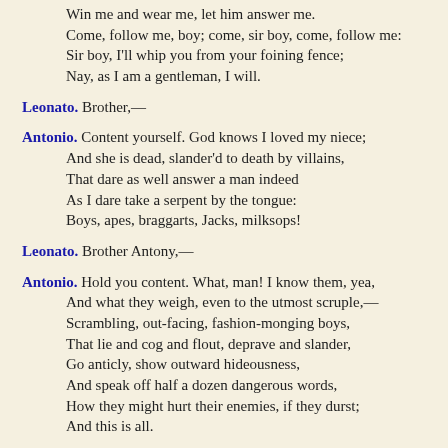Win me and wear me, let him answer me. Come, follow me, boy; come, sir boy, come, follow me: Sir boy, I'll whip you from your foining fence; Nay, as I am a gentleman, I will.
Leonato. Brother,—
Antonio. Content yourself. God knows I loved my niece; And she is dead, slander'd to death by villains, That dare as well answer a man indeed As I dare take a serpent by the tongue: Boys, apes, braggarts, Jacks, milksops!
Leonato. Brother Antony,—
Antonio. Hold you content. What, man! I know them, yea, And what they weigh, even to the utmost scruple,— Scrambling, out-facing, fashion-monging boys, That lie and cog and flout, deprave and slander, Go anticly, show outward hideousness, And speak off half a dozen dangerous words, How they might hurt their enemies, if they durst; And this is all.
Leonato. But, brother Antony,—
Antonio. Come, 'tis no matter: Do not you meddle; let me deal in this.